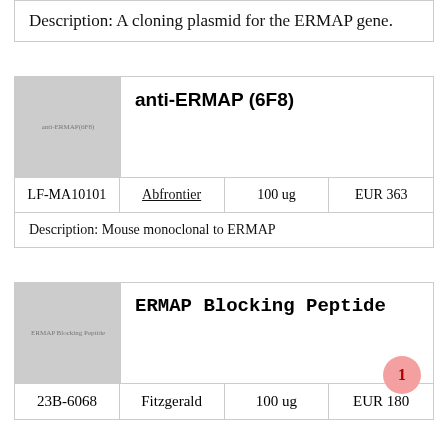Description: A cloning plasmid for the ERMAP gene.
| (image: anti-ERMAP(6F8)) | anti-ERMAP (6F8) |
| LF-MA10101 | Abfrontier | 100 ug | EUR 363 |
| Description: Mouse monoclonal to ERMAP |
| (image: ERMAP Blocking Peptide) | ERMAP Blocking Peptide |
| 23B-6068 | Fitzgerald | 100 ug | EUR 180 |